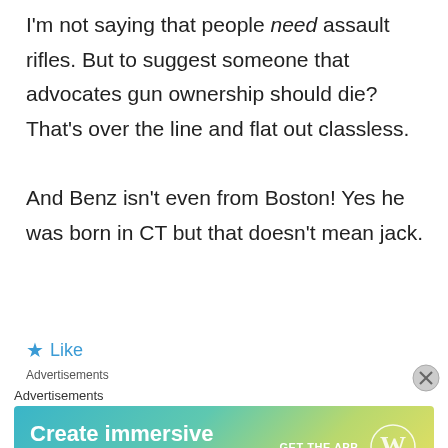I'm not saying that people need assault rifles. But to suggest someone that advocates gun ownership should die? That's over the line and flat out classless.

And Benz isn't even from Boston! Yes he was born in CT but that doesn't mean jack.
★ Like
Advertisements
Advertisements
[Figure (other): Advertisement banner: 'Create immersive stories. GET THE APP' with WordPress logo, gradient blue-green-yellow background. Close button (X) in top right.]